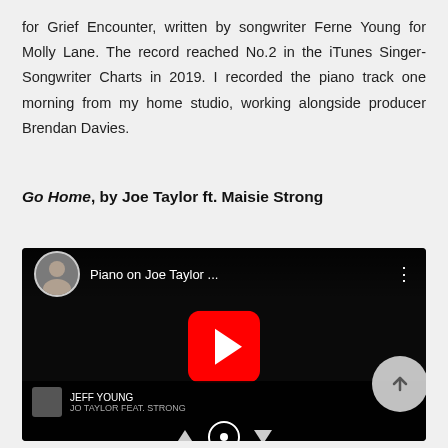for Grief Encounter, written by songwriter Ferne Young for Molly Lane. The record reached No.2 in the iTunes Singer-Songwriter Charts in 2019. I recorded the piano track one morning from my home studio, working alongside producer Brendan Davies.
Go Home, by Joe Taylor ft. Maisie Strong
[Figure (screenshot): YouTube video thumbnail showing 'Piano on Joe Taylor ...' with a profile photo of a man, YouTube play button in center, and music player controls at the bottom]
I added some piano riffs to Joe Taylor and Maisie Strong's Go Home single, released in October